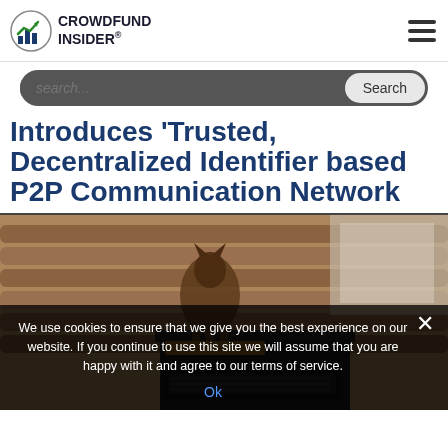CROWDFUND INSIDER
Introduces 'Trusted, Decentralized Identifier based P2P Communication Network
[Figure (photo): A bronze/dark animal sculpture (wolf or bear) on a wooden surface, set against a log cabin background, with a dark laptop/device partially visible in the foreground. A cookie consent overlay covers the lower portion of the image.]
We use cookies to ensure that we give you the best experience on our website. If you continue to use this site we will assume that you are happy with it and agree to our terms of service.
Ok